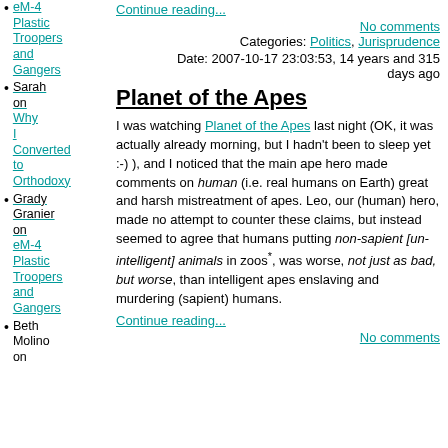eM-4 Plastic Troopers and Gangers
Continue reading...
No comments
Categories: Politics, Jurisprudence
Date: 2007-10-17 23:03:53, 14 years and 315 days ago
Sarah on Why I Converted to Orthodoxy
Planet of the Apes
I was watching Planet of the Apes last night (OK, it was actually already morning, but I hadn't been to sleep yet :-) ), and I noticed that the main ape hero made comments on human (i.e. real humans on Earth) great and harsh mistreatment of apes. Leo, our (human) hero, made no attempt to counter these claims, but instead seemed to agree that humans putting non-sapient [un-intelligent] animals in zoos*, was worse, not just as bad, but worse, than intelligent apes enslaving and murdering (sapient) humans.
Grady Granier on eM-4 Plastic Troopers and Gangers
Continue reading...
Beth Molino on
No comments